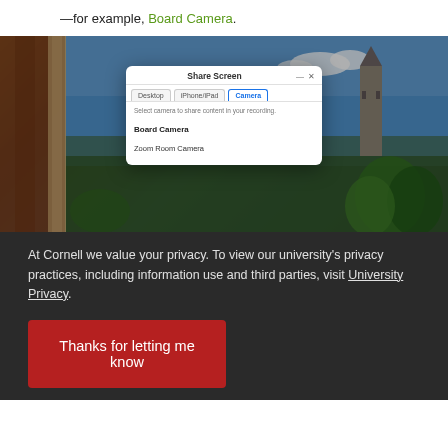—for example, Board Camera.
[Figure (screenshot): Screenshot of Zoom Share Screen dialog showing Camera tab with 'Board Camera' and 'Zoom Room Camera' options, overlaid on a photo of Cornell University campus featuring brick architecture and McGraw Tower]
At Cornell we value your privacy. To view our university's privacy practices, including information use and third parties, visit University Privacy.
Thanks for letting me know